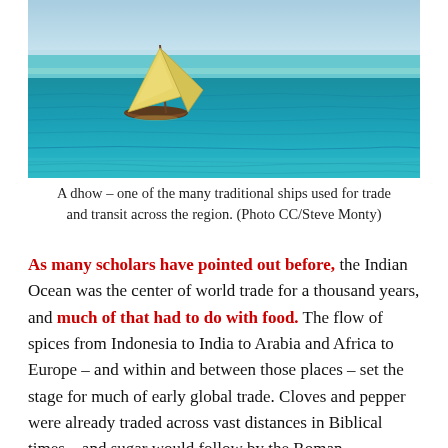[Figure (photo): A sailboat (dhow) with a pale yellow triangular sail on turquoise-blue ocean water, viewed from a low angle.]
A dhow – one of the many traditional ships used for trade and transit across the region. (Photo CC/Steve Monty)
As many scholars have pointed out before, the Indian Ocean was the center of world trade for a thousand years, and much of that had to do with food. The flow of spices from Indonesia to India to Arabia and Africa to Europe – and within and between those places – set the stage for much of early global trade. Cloves and pepper were already traded across vast distances in Biblical times – and sugar would follow by the Roman